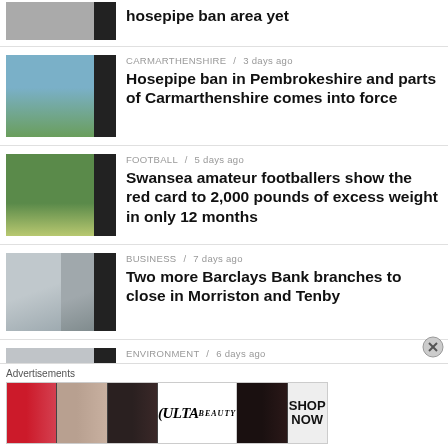hosepipe ban area yet
CARMARTHENSHIRE / 3 days ago — Hosepipe ban in Pembrokeshire and parts of Carmarthenshire comes into force
FOOTBALL / 5 days ago — Swansea amateur footballers show the red card to 2,000 pounds of excess weight in only 12 months
BUSINESS / 7 days ago — Two more Barclays Bank branches to close in Morriston and Tenby
ENVIRONMENT / 6 days ago — Flash flooding as heatwave breaks and Met Office issues thunderstorm warning
Advertisements
[Figure (photo): Advertisement banner featuring ULTA beauty products with lips, brush, eye makeup imagery and SHOP NOW call to action]